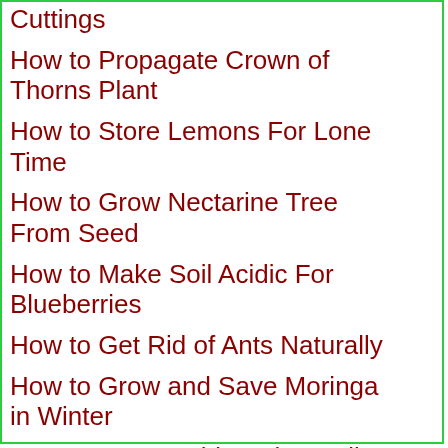Cuttings
How to Propagate Crown of Thorns Plant
How to Store Lemons For Lone Time
How to Grow Nectarine Tree From Seed
How to Make Soil Acidic For Blueberries
How to Get Rid of Ants Naturally
How to Grow and Save Moringa in Winter
How to Reuse Old Potting Soil
Persimmon Propagation from Cuttings